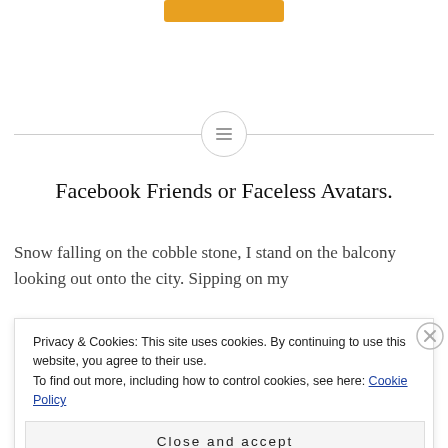[Figure (other): Orange button partially visible at top of page]
[Figure (other): Horizontal divider line with circular icon in center containing lines/list icon]
Facebook Friends or Faceless Avatars.
Snow falling on the cobble stone, I stand on the balcony looking out onto the city. Sipping on my
Privacy & Cookies: This site uses cookies. By continuing to use this website, you agree to their use.
To find out more, including how to control cookies, see here: Cookie Policy
Close and accept